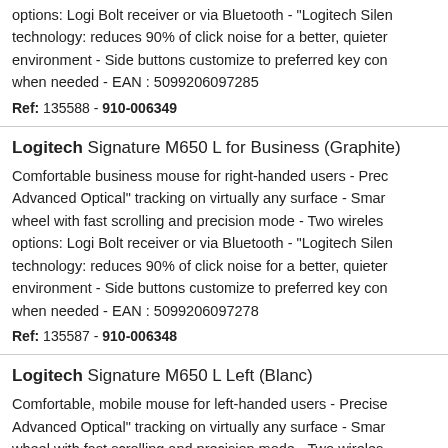options: Logi Bolt receiver or via Bluetooth - "Logitech Silent" technology: reduces 90% of click noise for a better, quieter environment - Side buttons customize to preferred key commands when needed - EAN : 5099206097285
Ref: 135588 - 910-006349
Logitech Signature M650 L for Business (Graphite)
Comfortable business mouse for right-handed users - Precise "Advanced Optical" tracking on virtually any surface - Smart wheel with fast scrolling and precision mode - Two wireless options: Logi Bolt receiver or via Bluetooth - "Logitech Silent" technology: reduces 90% of click noise for a better, quieter environment - Side buttons customize to preferred key commands when needed - EAN : 5099206097278
Ref: 135587 - 910-006348
Logitech Signature M650 L Left (Blanc)
Comfortable, mobile mouse for left-handed users - Precise "Advanced Optical" tracking on virtually any surface - Smart wheel with fast scrolling and precision mode - Two wireless connectivity options: 2.4 GHz receiver or via Bluetooth - "Lo SilentTouch" technology: reduces 90% of click noise for a b